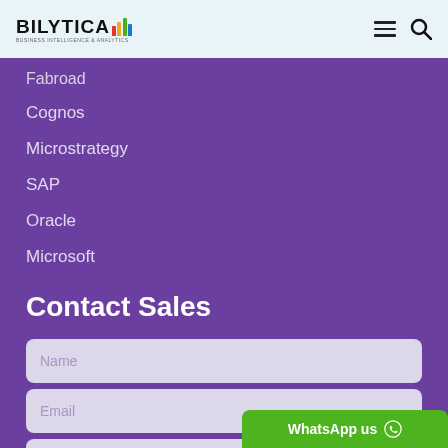Bilytica - Business Intelligence & Analytics
Fabroad
Cognos
Microstrategy
SAP
Oracle
Microsoft
Contact Sales
Name
Email
Phone
WhatsApp us